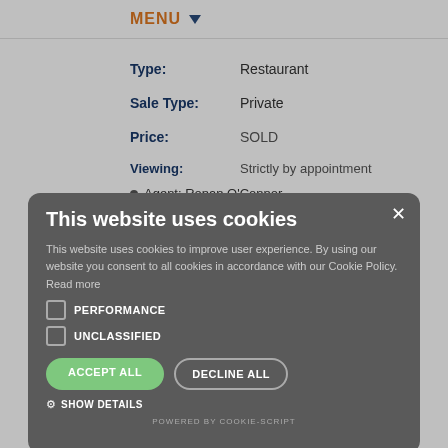MENU ▼
Type: Restaurant
Sale Type: Private
Price: SOLD
Viewing: Strictly by appointment
Agent: Ronan O'Connor
Tel: +353 45-897711
Back to search
Description | Map | Contact Us
This website uses cookies
This website uses cookies to improve user experience. By using our website you consent to all cookies in accordance with our Cookie Policy.
Read more
PERFORMANCE
UNCLASSIFIED
ACCEPT ALL
DECLINE ALL
SHOW DETAILS
POWERED BY COOKIE-SCRIPT
Description